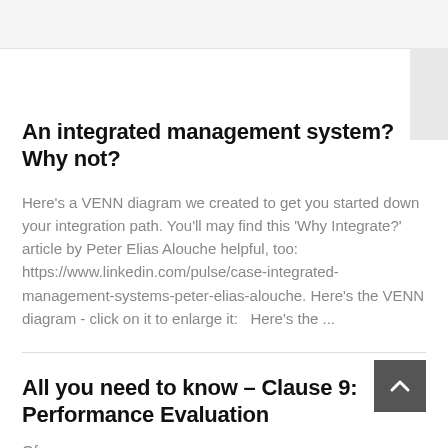An integrated management system? Why not?
Here's a VENN diagram we created to get you started down your integration path. You'll may find this 'Why Integrate?' article by Peter Elias Alouche helpful, too: https://www.linkedin.com/pulse/case-integrated-management-systems-peter-elias-alouche. Here's the VENN diagram - click on it to enlarge it:   Here's the ...
All you need to know – Clause 9: Performance Evaluation
Of course...